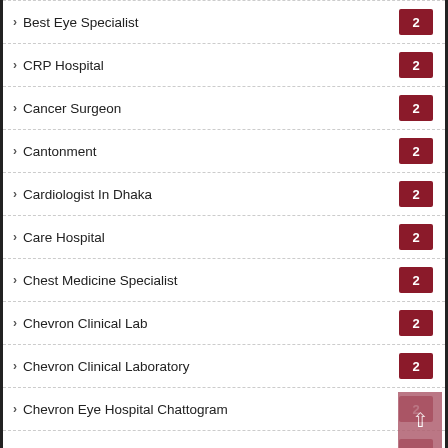Best Eye Specialist 2
CRP Hospital 2
Cancer Surgeon 2
Cantonment 2
Cardiologist In Dhaka 2
Care Hospital 2
Chest Medicine Specialist 2
Chevron Clinical Lab 2
Chevron Clinical Laboratory 2
Chevron Eye Hospital Chattogram 2
Child Neurologist In Dhaka 2
Clinic In Noakhali 2
Colorectal Surgeon In Dhaka 2
Combined Military CMH Hospital 2